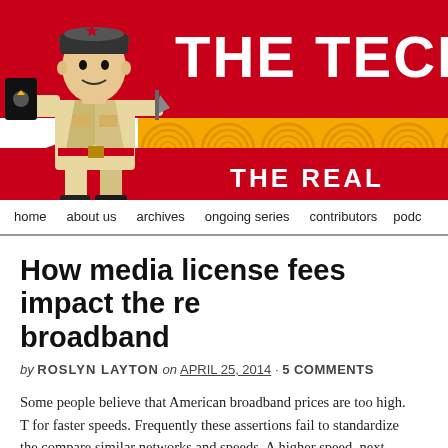[Figure (illustration): Website header banner for 'The Technoskeptic' blog. Red background with yellow circular swirl pattern. A propaganda-style illustration of a person in uniform holding a book with a star. Large bold white text reads 'THE TECHNO' and below 'THE REAL'.]
home   about us   archives   ongoing series   contributors   podc
How media license fees impact the re broadband
by ROSLYN LAYTON on APRIL 25, 2014 · 5 COMMENTS
Some people believe that American broadband prices are too high. T for faster speeds. Frequently these assertions fail to standardize the compare similar networks and speeds. A higher speed, next generatio more data generally costs more than a slower one. The challenge for American prices is that networks are not uniform across the regions. on availability in at least one major city in each country, not the co